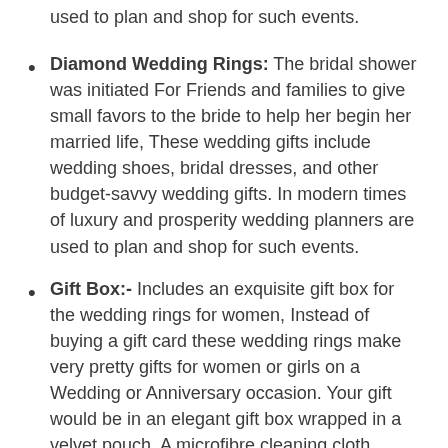used to plan and shop for such events.
Diamond Wedding Rings: The bridal shower was initiated For Friends and families to give small favors to the bride to help her begin her married life, These wedding gifts include wedding shoes, bridal dresses, and other budget-savvy wedding gifts. In modern times of luxury and prosperity wedding planners are used to plan and shop for such events.
Gift Box:- Includes an exquisite gift box for the wedding rings for women, Instead of buying a gift card these wedding rings make very pretty gifts for women or girls on a Wedding or Anniversary occasion. Your gift would be in an elegant gift box wrapped in a velvet pouch. A microfibre cleaning cloth would also be included in a pouch. A nice option for Anniversary ring upgrades or a Wedding celebration as compared to Gift cards for Amazon.
JEWELRY INFORMATION